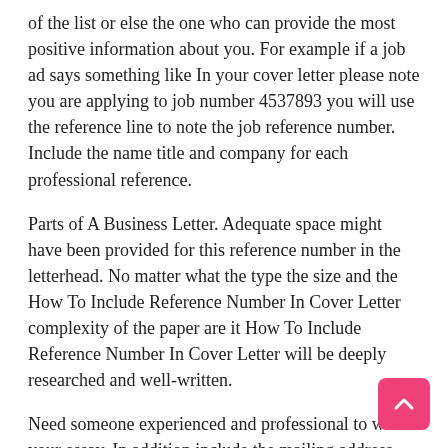of the list or else the one who can provide the most positive information about you. For example if a job ad says something like In your cover letter please note you are applying to job number 4537893 you will use the reference line to note the job reference number. Include the name title and company for each professional reference.
Parts of A Business Letter. Adequate space might have been provided for this reference number in the letterhead. No matter what the type the size and the How To Include Reference Number In Cover Letter complexity of the paper are it How To Include Reference Number In Cover Letter will be deeply researched and well-written.
Need someone experienced and professional to write your essay. In addition include the mailing address and email address as well as their phone number. Include the individuals name title work address and phone number and e-mail address if applicable.
When writing business letters youll use a reference line if you